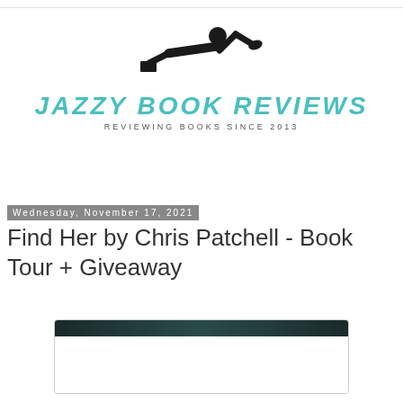[Figure (logo): Jazzy Book Reviews logo with person reading icon and teal text]
Wednesday, November 17, 2021
Find Her by Chris Patchell - Book Tour + Giveaway
[Figure (photo): Book cover image for Find Her by Chris Patchell, partially visible dark tones at top]